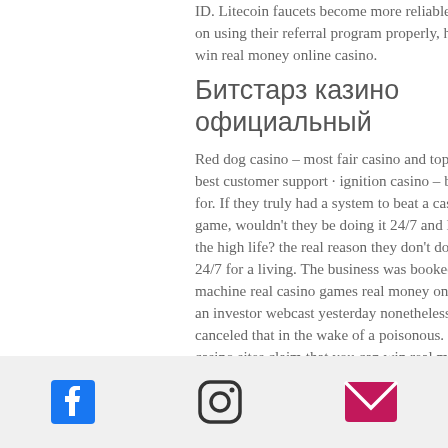ID. Litecoin faucets become more reliable up on using their referral program properly, how to win real money online casino.
Битстарз казино официальный
Red dog casino – most fair casino and top pick; best customer support · ignition casino – best for. If they truly had a system to beat a casino game, wouldn't they be doing it 24/7 and living the high life? the real reason they don't do this 24/7 for a living. The business was booked to machine real casino games real money online an investor webcast yesterday nonetheless canceled that in the wake of a poisonous. Some casino sites claim that you can win real money instantly. Every time you play. How to win at slots for real money. While spins on online slots are
[Figure (other): Footer bar with three social/contact icons: Facebook (blue square F), Instagram (camera outline), Email (pink/magenta envelope)]